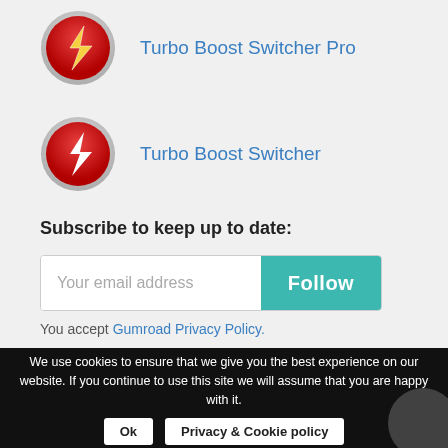[Figure (logo): Red circle app icon with white lightning bolt (yellow tinted), Turbo Boost Switcher Pro]
Turbo Boost Switcher Pro
[Figure (logo): Red circle app icon with white lightning bolt, Turbo Boost Switcher]
Turbo Boost Switcher
Subscribe to keep up to date:
[Figure (screenshot): Email input field with placeholder 'Your email address' and a teal Follow button]
You accept Gumroad Privacy Policy.
[Figure (logo): Orange RSS feed icon (rounded square)]
[Figure (logo): Blue Twitter bird icon (rounded square)]
We use cookies to ensure that we give you the best experience on our website. If you continue to use this site we will assume that you are happy with it.